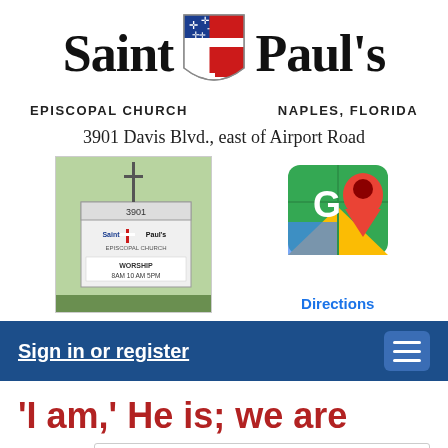[Figure (logo): Saint Paul's Episcopal Church Naples Florida logo with Episcopal shield (blue field with white crosses, red cross, white and red quarters)]
3901 Davis Blvd., east of Airport Road
[Figure (photo): Photo of Saint Paul's Episcopal Church outdoor sign reading '3901 Saint Paul's Episcopal Church WORSHIP 8AM 10AM 5PM']
[Figure (logo): Google Maps icon with red location pin and label 'Directions']
Sign in or register
'I am,' He is; we are
Today is